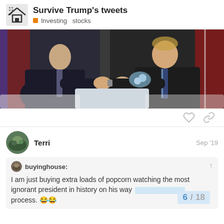Survive Trump's tweets — Investing stocks
[Figure (photo): Two men in dark suits shaking hands across a table, with flags in the background, at what appears to be a formal diplomatic meeting.]
Terri   Sep '19
buyinghouse: I am just buying extra loads of popcorn watching the most ignorant president in history on his way process. 😂😂
6 / 18